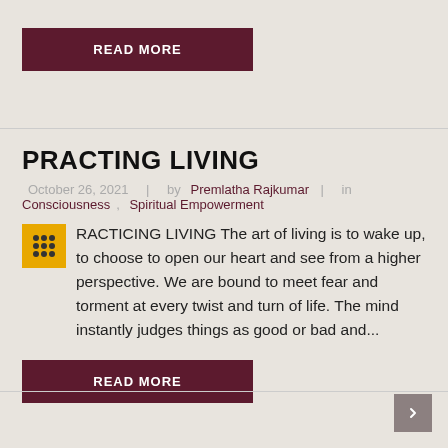READ MORE
PRACTING LIVING
October 26, 2021  |  by Premlatha Rajkumar  |  in Consciousness, Spiritual Empowerment
PRACTICING LIVING The art of living is to wake up, to choose to open our heart and see from a higher perspective. We are bound to meet fear and torment at every twist and turn of life. The mind instantly judges things as good or bad and...
READ MORE